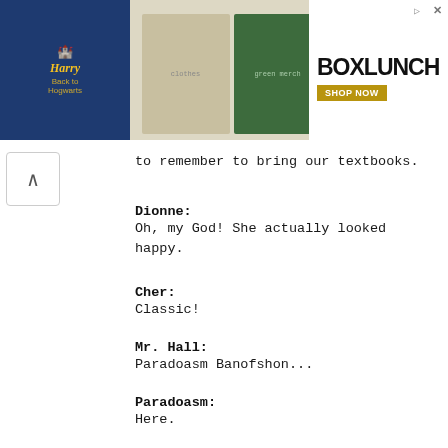[Figure (screenshot): BoxLunch advertisement banner featuring Harry Potter merchandise — Hogwarts castle logo on dark blue background, product photos of clothing/accessories, green Slytherin-themed items, and BoxLunch logo with SHOP NOW button]
to remember to bring our textbooks.
Dionne:
Oh, my God! She actually looked happy.
Cher:
Classic!
Mr. Hall:
Paradoasm Banofshon...
Paradoasm:
Here.
Mr. Hall:
16 tardies to work off. Janet Hong... no tardies. Travis Birkenstock... 38 tardies. By far the most tardies in the class. Congratulations.
Travis:
This is so unexpected. I didn't even